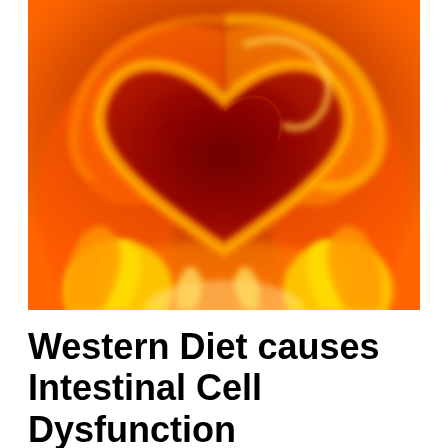[Figure (photo): A dramatic photograph of a heart shape formed by swirling flames and fire, with deep red at the center and bright orange and yellow flames surrounding the heart shape against a warm fiery background.]
Western Diet causes Intestinal Cell Dysfunction